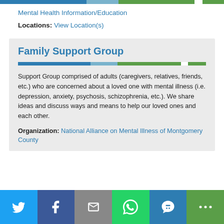[Figure (infographic): Top color bar with segments: dark blue, light blue, green, white gap, green]
Mental Health Information/Education
Locations: View Location(s)
Family Support Group
[Figure (infographic): Horizontal color bar inside card: dark blue, light blue, green, white gap, green]
Support Group comprised of adults (caregivers, relatives, friends, etc.) who are concerned about a loved one with mental illness (i.e. depression, anxiety, psychosis, schizophrenia, etc.). We share ideas and discuss ways and means to help our loved ones and each other.
Organization: National Alliance on Mental Illness of Montgomery County
[Figure (infographic): Bottom social sharing bar with Twitter, Facebook, Email, WhatsApp, SMS, and More buttons]